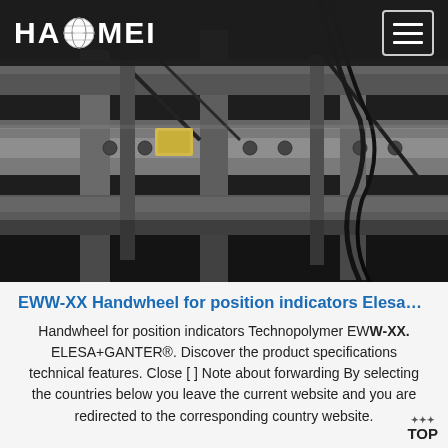HAOMEI [logo with globe] [hamburger menu button]
[Figure (photo): Industrial machinery photograph showing heavy metal structural components, beams, bolted frames, and hydraulic/cable lines in a manufacturing facility, viewed at an angle from below. Dark and grey tones.]
EWW-XX Handwheel for position indicators Elesa…
Handwheel for position indicators Technopolymer EWW-XX. ELESA+GANTER®. Discover the product specifications technical features. Close [ ] Note about forwarding By selecting the countries below you leave the current website and you are redirected to the corresponding country website.